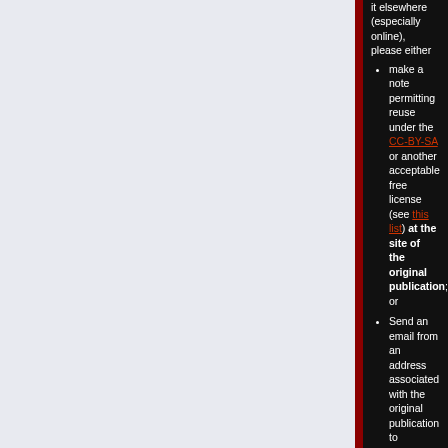it elsewhere (especially online), please either
make a note permitting reuse under the CC-BY-SA or another acceptable free license (see this list) at the site of the original publication; or
Send an email from an address associated with the original publication to permissions-en@wikimedia.org, stating your ownership of the material and your intention to publish it under a free license. You can find a sample permission letter here. If you take this step, add Template:TI to the file description page to prevent premature deletion.
If you did not create it entirely yourself, please ask the person who created the file to take one of the two steps listed above, or if the owner of the file has already given their permission to you via email, please forward that email to permissions-en@wikimedia.org.
If you believe the media meets the criteria at Wikipedia:Non-free content, use a tag such as Template:TI or one of the other tags listed at